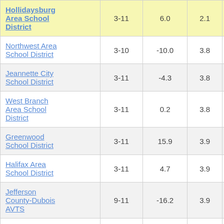| School District | Grades | Col3 | Col4 | Score |
| --- | --- | --- | --- | --- |
| Hollidaysburg Area School District | 3-11 | 6.0 | 2.1 | 2.88 |
| Northwest Area School District | 3-10 | -10.0 | 3.8 | -2.59 |
| Jeannette City School District | 3-11 | -4.3 | 3.8 | -1.13 |
| West Branch Area School District | 3-11 | 0.2 | 3.8 | 0.05 |
| Greenwood School District | 3-11 | 15.9 | 3.9 | 4.11 |
| Halifax Area School District | 3-11 | 4.7 | 3.9 | 1.22 |
| Jefferson County-Dubois AVTS | 9-11 | -16.2 | 3.9 | -4.16 |
| Johnsonburg |  |  |  |  |